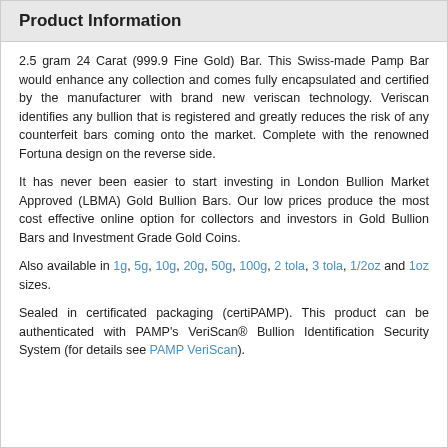Product Information
2.5 gram 24 Carat (999.9 Fine Gold) Bar. This Swiss-made Pamp Bar would enhance any collection and comes fully encapsulated and certified by the manufacturer with brand new veriscan technology. Veriscan identifies any bullion that is registered and greatly reduces the risk of any counterfeit bars coming onto the market. Complete with the renowned Fortuna design on the reverse side.
It has never been easier to start investing in London Bullion Market Approved (LBMA) Gold Bullion Bars. Our low prices produce the most cost effective online option for collectors and investors in Gold Bullion Bars and Investment Grade Gold Coins.
Also available in 1g, 5g, 10g, 20g, 50g, 100g, 2 tola, 3 tola, 1/2oz and 1oz sizes.
Sealed in certificated packaging (certiPAMP). This product can be authenticated with PAMP's VeriScan® Bullion Identification Security System (for details see PAMP VeriScan).